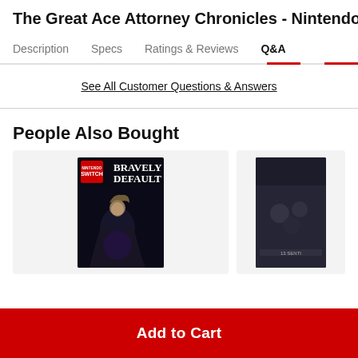The Great Ace Attorney Chronicles - Nintendo Switc
Description  Specs  Ratings & Reviews  Q&A
See All Customer Questions & Answers
People Also Bought
[Figure (photo): Bravely Default II Nintendo Switch game cover]
[Figure (photo): Partially visible Nintendo Switch game cover (13 Sentinels)]
Add to Cart